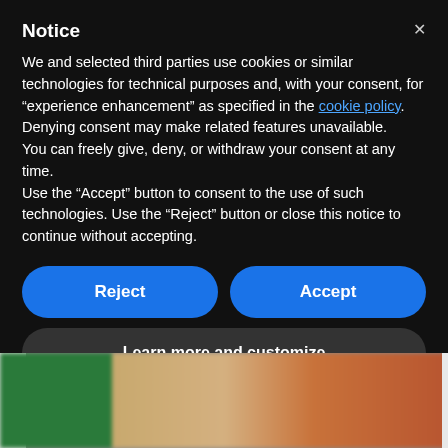Notice
We and selected third parties use cookies or similar technologies for technical purposes and, with your consent, for “experience enhancement” as specified in the cookie policy. Denying consent may make related features unavailable.
You can freely give, deny, or withdraw your consent at any time.
Use the “Accept” button to consent to the use of such technologies. Use the “Reject” button or close this notice to continue without accepting.
Reject
Accept
Learn more and customize
[Figure (photo): Blurred photo of colorful items: green, beige/tan, and red objects visible at the bottom of the page]